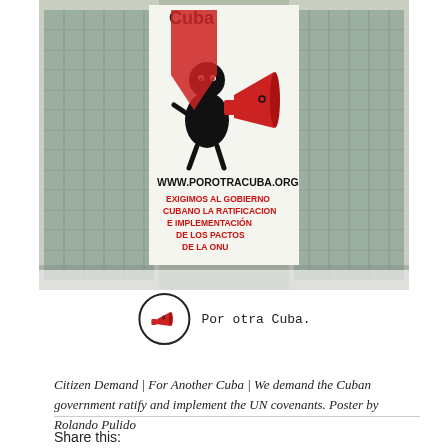[Figure (photo): Photograph of a large outdoor poster/billboard on a building façade in Cuba. The poster shows a stylized black cartoon figure holding a red megaphone, with the URL www.porotracuba.org and text in Spanish: EXIGIMOS AL GOBIERNO CUBANO LA RATIFICACION E IMPLEMENTACION DE LOS PACTOS DE LA ONU. Below the main photo is a circular logo of Por otra Cuba with a red megaphone icon and text 'Por otra Cuba.']
Citizen Demand | For Another Cuba | We demand the Cuban government ratify and implement the UN covenants. Poster by Rolando Pulido
Share this: